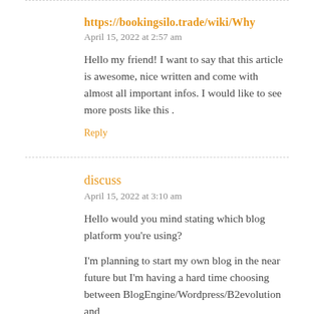https://bookingsilo.trade/wiki/Why
April 15, 2022 at 2:57 am
Hello my friend! I want to say that this article is awesome, nice written and come with almost all important infos. I would like to see more posts like this .
Reply
discuss
April 15, 2022 at 3:10 am
Hello would you mind stating which blog platform you're using?
I'm planning to start my own blog in the near future but I'm having a hard time choosing between BlogEngine/Wordpress/B2evolution and